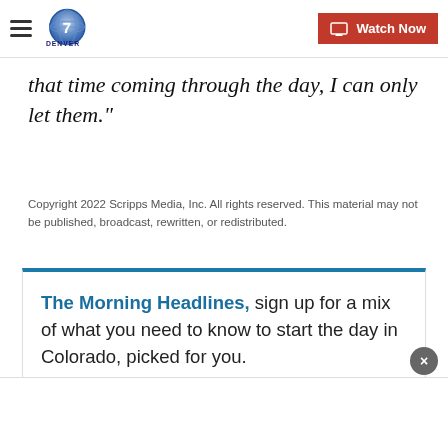Denver7 | Watch Now
that time coming through the day, I can only let them."
Copyright 2022 Scripps Media, Inc. All rights reserved. This material may not be published, broadcast, rewritten, or redistributed.
The Morning Headlines, sign up for a mix of what you need to know to start the day in Colorado, picked for you.
E-mail
Submit